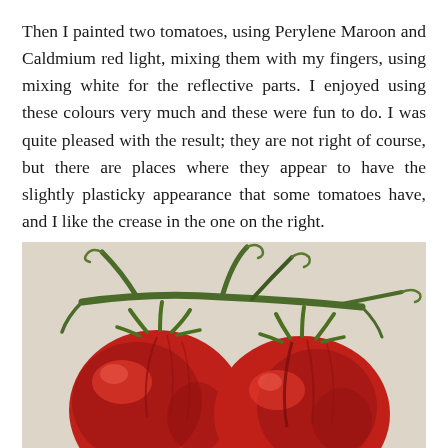Then I painted two tomatoes, using Perylene Maroon and Caldmium red light, mixing them with my fingers, using mixing white for the reflective parts. I enjoyed using these colours very much and these were fun to do. I was quite pleased with the result; they are not right of course, but there are places where they appear to have the slightly plasticky appearance that some tomatoes have, and I like the crease in the one on the right.
[Figure (illustration): A painting of two red tomatoes on the vine. The tomatoes are depicted with rich red and maroon tones showing highlights and shadows. Green stems and tendrils extend from the top of the tomatoes. The background is a light beige/grey tone.]